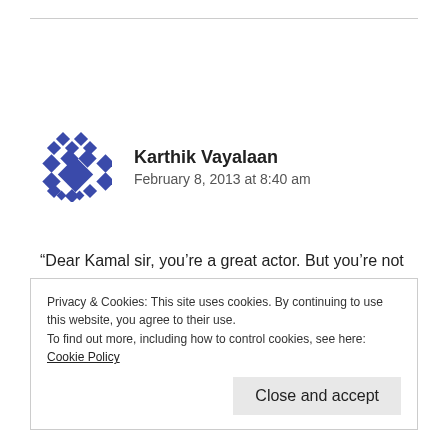[Figure (illustration): Blue geometric/diamond pattern avatar icon for user Karthik Vayalaan]
Karthik Vayalaan
February 8, 2013 at 8:40 am
“Dear Kamal sir, you’re a great actor. But you’re not a good director.” If you can qualitatively prove this comment, I would totally agree with your review. Or else, stop making such sweeping statements. Your turn.
Privacy & Cookies: This site uses cookies. By continuing to use this website, you agree to their use.
To find out more, including how to control cookies, see here: Cookie Policy
Close and accept